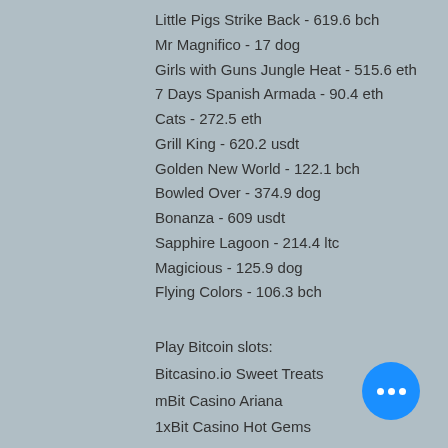Little Pigs Strike Back - 619.6 bch
Mr Magnifico - 17 dog
Girls with Guns Jungle Heat - 515.6 eth
7 Days Spanish Armada - 90.4 eth
Cats - 272.5 eth
Grill King - 620.2 usdt
Golden New World - 122.1 bch
Bowled Over - 374.9 dog
Bonanza - 609 usdt
Sapphire Lagoon - 214.4 ltc
Magicious - 125.9 dog
Flying Colors - 106.3 bch
Play Bitcoin slots:
Bitcasino.io Sweet Treats
mBit Casino Ariana
1xBit Casino Hot Gems
1xBit Casino Skull of Legends
https://en.imd.org.br/profile/ronnyschlarbaumXXXX/profile